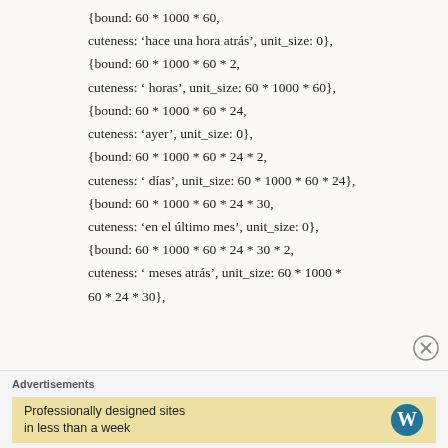{bound: 60 * 1000 * 60,
cuteness: 'hace una hora atrás', unit_size: 0},
{bound: 60 * 1000 * 60 * 2,
cuteness: ' horas', unit_size: 60 * 1000 * 60},
{bound: 60 * 1000 * 60 * 24,
cuteness: 'ayer', unit_size: 0},
{bound: 60 * 1000 * 60 * 24 * 2,
cuteness: ' días', unit_size: 60 * 1000 * 60 * 24},
{bound: 60 * 1000 * 60 * 24 * 30,
cuteness: 'en el último mes', unit_size: 0},
{bound: 60 * 1000 * 60 * 24 * 30 * 2,
cuteness: ' meses atrás', unit_size: 60 * 1000 * 60 * 24 * 30},
[Figure (other): Close/dismiss button (circled X icon) in bottom-right of main content area]
Advertisements
Professionally designed sites in less than a week